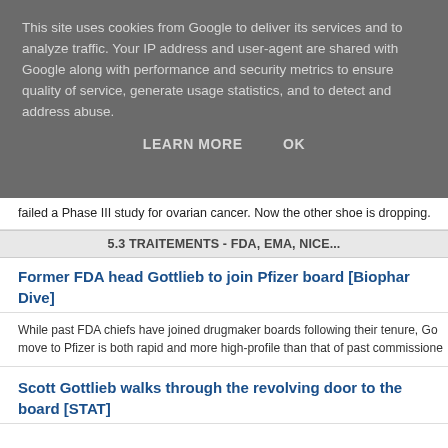This site uses cookies from Google to deliver its services and to analyze traffic. Your IP address and user-agent are shared with Google along with performance and security metrics to ensure quality of service, generate usage statistics, and to detect and address abuse.
LEARN MORE   OK
failed a Phase III study for ovarian cancer. Now the other shoe is dropping.
5.3 TRAITEMENTS - FDA, EMA, NICE...
Former FDA head Gottlieb to join Pfizer board [Biopharma Dive]
While past FDA chiefs have joined drugmaker boards following their tenure, Gottlieb's move to Pfizer is both rapid and more high-profile than that of past commissioners.
Scott Gottlieb walks through the revolving door to the Pfizer board [STAT]